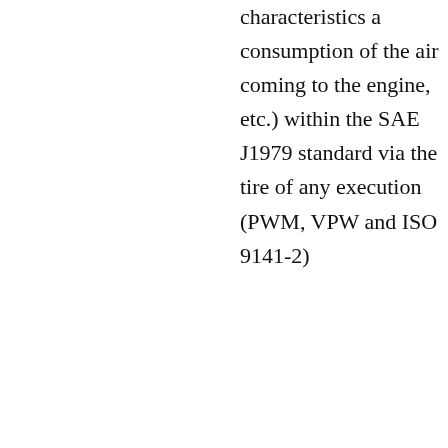characteristics a consumption of the air coming to the engine, etc.) within the SAE J1979 standard via the tire of any execution (PWM, VPW and ISO 9141-2)